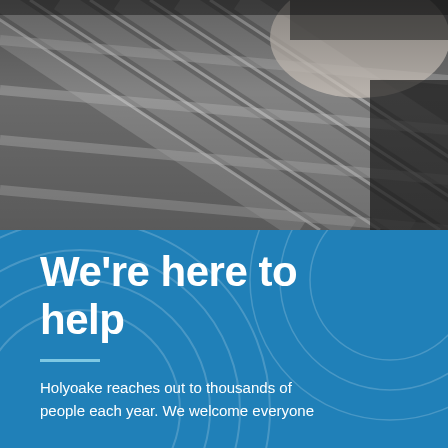[Figure (photo): Close-up black and white photograph of a person (child or young person) hugging their knees, wearing a plaid flannel shirt. Face partially visible at top right.]
We're here to help
Holyoake reaches out to thousands of people each year. We welcome everyone